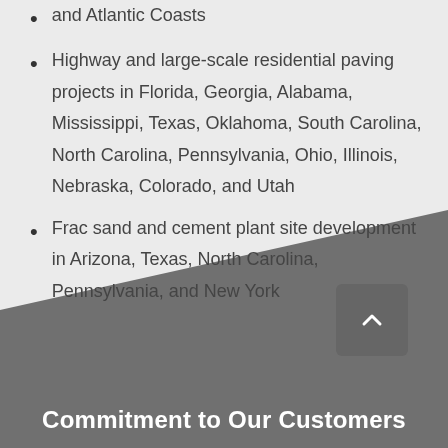and Atlantic Coasts
Highway and large-scale residential paving projects in Florida, Georgia, Alabama, Mississippi, Texas, Oklahoma, South Carolina, North Carolina, Pennsylvania, Ohio, Illinois, Nebraska, Colorado, and Utah
Frac sand and cement plant site development in Arizona, Texas, North Carolina, Pennsylvania, and New York
Commitment to Our Customers